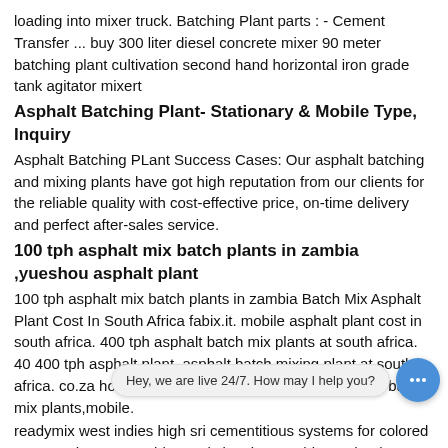loading into mixer truck. Batching Plant parts : - Cement Transfer ... buy 300 liter diesel concrete mixer 90 meter batching plant cultivation second hand horizontal iron grade tank agitator mixert
Asphalt Batching Plant- Stationary & Mobile Type, Inquiry
Asphalt Batching PLant Success Cases: Our asphalt batching and mixing plants have got high reputation from our clients for the reliable quality with cost-effective price, on-time delivery and perfect after-sales service.
100 tph asphalt mix batch plants in zambia ,yueshou asphalt plant
100 tph asphalt mix batch plants in zambia Batch Mix Asphalt Plant Cost In South Africa fabix.it. mobile asphalt plant cost in south africa. 400 tph asphalt batch mix plants at south africa. 40 400 tph asphalt plant, asphalt batch mixing plant at south africa. co.za hot mix road equipment for 10 tph . asphalt batch mix plants,mobile.
readymix west indies high sri cementitious systems for colored concrete hzs90 portable sand cleaning machines wheel type for sale in zambales
Long-Term Storag
Astec, Inc. manufactures portable, relocatable & stationary ho... warm mix asphalt plants, soil remediation plants, plant controls and